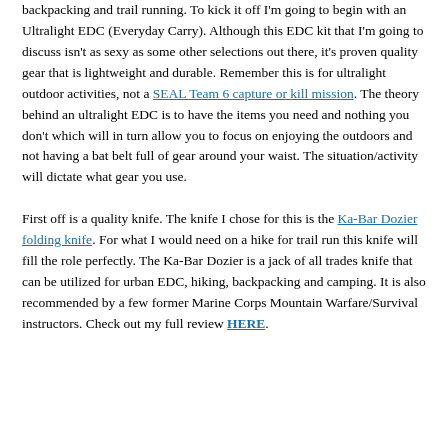backpacking and trail running. To kick it off I'm going to begin with an Ultralight EDC (Everyday Carry). Although this EDC kit that I'm going to discuss isn't as sexy as some other selections out there, it's proven quality gear that is lightweight and durable. Remember this is for ultralight outdoor activities, not a SEAL Team 6 capture or kill mission. The theory behind an ultralight EDC is to have the items you need and nothing you don't which will in turn allow you to focus on enjoying the outdoors and not having a bat belt full of gear around your waist. The situation/activity will dictate what gear you use.

First off is a quality knife. The knife I chose for this is the Ka-Bar Dozier folding knife. For what I would need on a hike for trail run this knife will fill the role perfectly. The Ka-Bar Dozier is a jack of all trades knife that can be utilized for urban EDC, hiking, backpacking and camping. It is also recommended by a few former Marine Corps Mountain Warfare/Survival instructors. Check out my full review HERE.